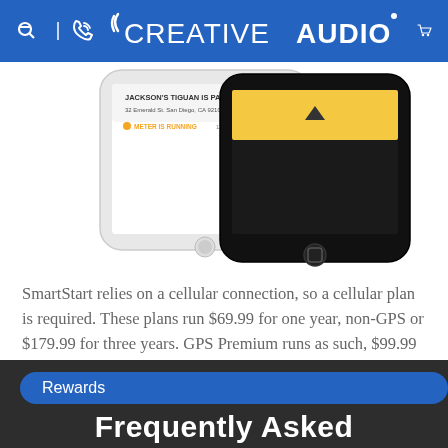CREATIVE AUDIO
[Figure (photo): Two smartphones (one white, one black) showing a parking app. The white phone displays 'JACKSON'S TIGUAN IS PARKED, 32 Emerald St. San Diego, CA 92105' and 'METER IS RUNNING 121 MNUTS'. The black phone shows a yellow bar with an upward caret icon.]
SmartStart relies on a cellular connection, so a cellular plan is required. These plans run $69.99 for one year, non-GPS or $179.99 for three years. GPS Premium runs as such, $99.99 for one year, $239.99 for three years.
Frequently Asked